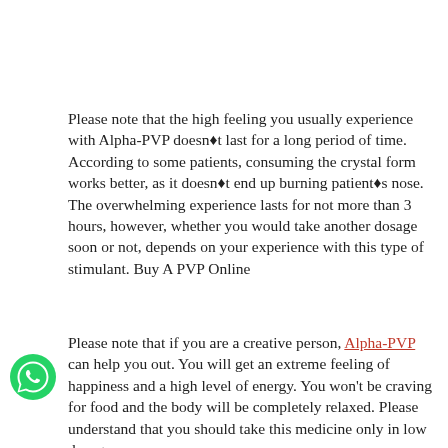Please note that the high feeling you usually experience with Alpha-PVP doesn't last for a long period of time. According to some patients, consuming the crystal form works better, as it doesn't end up burning patient's nose. The overwhelming experience lasts for not more than 3 hours, however, whether you would take another dosage soon or not, depends on your experience with this type of stimulant. Buy A PVP Online
Please note that if you are a creative person, Alpha-PVP can help you out. You will get an extreme feeling of happiness and a high level of energy. You won't be craving for food and the body will be completely relaxed. Please understand that you should take this medicine only in low dosages. With higher dosage, things can get out of control very easily. visit here
There are plenty of online resources from where you can buy Alpha-PVP, however, it is advised that you check the source in proper manner and read the reviews as much as possible. Please understand that the effects of these drugs on a